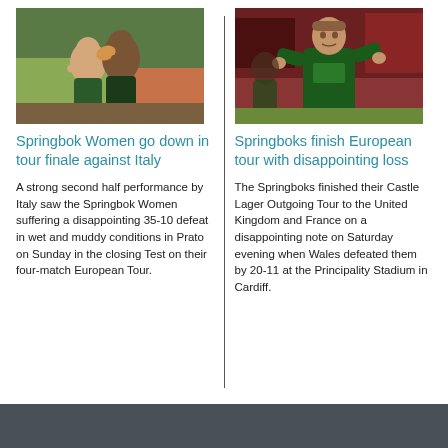[Figure (photo): Springbok Women rugby player catching a ball, action shot in wet conditions]
Springbok Women go down in tour finale against Italy
A strong second half performance by Italy saw the Springbok Women suffering a disappointing 35-10 defeat in wet and muddy conditions in Prato on Sunday in the closing Test on their four-match European Tour.
[Figure (photo): Springboks player in green jersey, action shot at stadium]
Springboks finish European tour with disappointing loss
The Springboks finished their Castle Lager Outgoing Tour to the United Kingdom and France on a disappointing note on Saturday evening when Wales defeated them by 20-11 at the Principality Stadium in Cardiff.